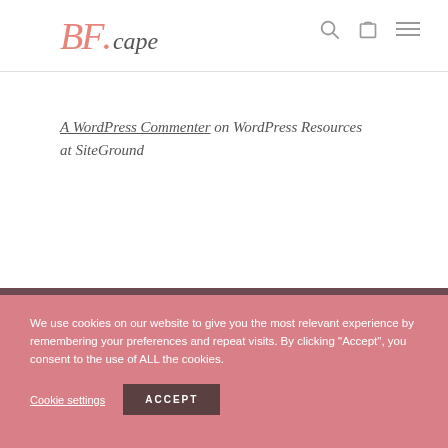BF.cape
A WordPress Commenter on WordPress Resources at SiteGround
We use cookies on our website to give you the most relevant experience by remembering your preferences and repeat visits. By clicking "Accept", you consent to the use of ALL the cookies.
Cookie settings  ACCEPT